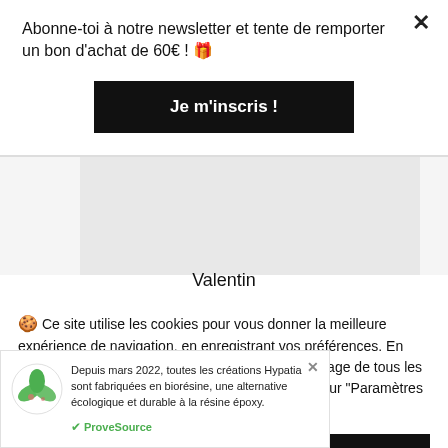Abonne-toi à notre newsletter et tente de remporter un bon d'achat de 60€ ! 🎁
Je m'inscris !
[Figure (photo): Product image strip, grey background]
Valentin
🍪 Ce site utilise les cookies pour vous donner la meilleure expérience de navigation, en enregistrant vos préférences. En cliquant sur "Accepter tout", vous consentez à l'usage de tous les cookies. Pour choisir les cookies utilisés, cliquez sur "Paramètres des Cookies".
ACCEPTER TOUT
REFUSER TOUT
Depuis mars 2022, toutes les créations Hypatia sont fabriquées en biorésine, une alternative écologique et durable à la résine époxy.
✔ ProveSource